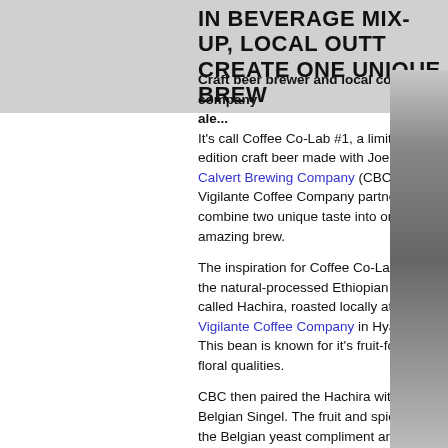IN BEVERAGE MIX-UP, LOCAL OUTFITS CREATE ONE UNIQUE BREW
Craft beer brewer and local coffee company... ale...
It's call Coffee Co-Lab #1, a limited-edition craft beer made with Joe. Calvert Brewing Company (CBC) and Vigilante Coffee Company partnered to combine two unique taste into one amazing brew.

The inspiration for Coffee Co-Lab #1 is the natural-processed Ethiopian coffee called Hachira, roasted locally at Vigilante Coffee Company in Hyattsville. This bean is known for it's fruit-forward, floral qualities.

CBC then paired the Hachira with a Belgian Singel. The fruit and spice from the Belgian yeast compliment and accentuate the Hachira bean's natural flavors.

According to CBC, "There's enough coffee on the nose to wake you up, followed by cherry, elderberry and coffee flavors, deceptively layered within a refreshing, golden-colored brew."
[Figure (photo): Photo of a person at a brewery, partially visible on the right side of the page]